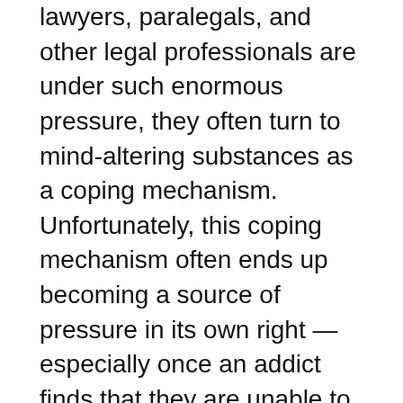lawyers, paralegals, and other legal professionals are under such enormous pressure, they often turn to mind-altering substances as a coping mechanism. Unfortunately, this coping mechanism often ends up becoming a source of pressure in its own right — especially once an addict finds that they are unable to stop abusing drugs and alcohol.
Substance use disorders are a significant public health problem in the United States. Not only do drug addictions regularly take lives, but they also have a major economic impact. Despite the common image of addicts as destitute individuals, most people who abuse alcohol and